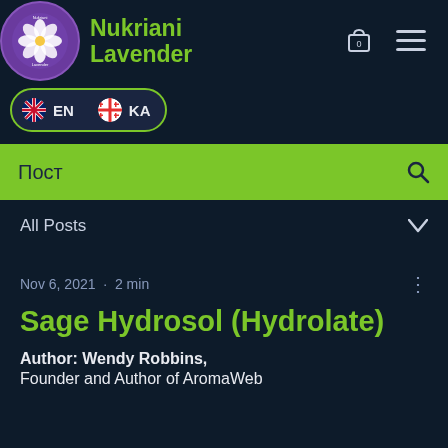[Figure (logo): Nukriani Lavender circular logo with purple background and white flower]
Nukriani Lavender
[Figure (infographic): Language selector showing EN (English flag) and KA (Georgian flag) buttons]
Пост
All Posts
Nov 6, 2021 · 2 min
Sage Hydrosol (Hydrolate)
Author: Wendy Robbins,
Founder and Author of AromaWeb